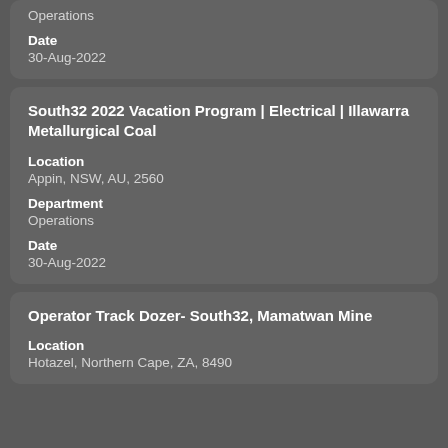Operations
Date
30-Aug-2022
South32 2022 Vacation Program | Electrical | Illawarra Metallurgical Coal
Location
Appin, NSW, AU, 2560
Department
Operations
Date
30-Aug-2022
Operator Track Dozer- South32, Mamatwan Mine
Location
Hotazel, Northern Cape, ZA, 8490